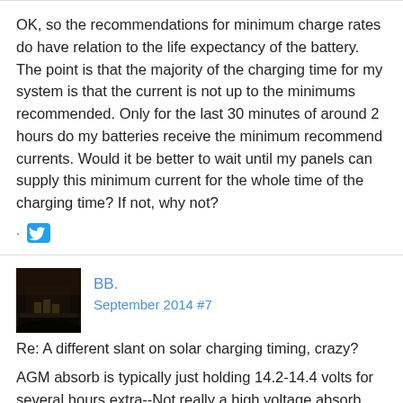OK, so the recommendations for minimum charge rates do have relation to the life expectancy of the battery. The point is that the majority of the charging time for my system is that the current is not up to the minimums recommended. Only for the last 30 minutes of around 2 hours do my batteries receive the minimum recommend currents. Would it be better to wait until my panels can supply this minimum current for the whole time of the charging time? If not, why not?
[Figure (logo): Twitter bird logo icon in blue]
BB.
September 2014 #7
Re: A different slant on solar charging timing, crazy?
AGM absorb is typically just holding 14.2-14.4 volts for several hours extra--Not really a high voltage absorb like a flooded cell.
Concorde does have a high voltage charging to restore a damaged/failing battery--But it is not something (I think) you